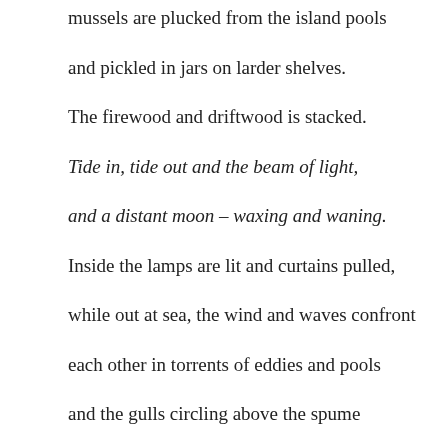mussels are plucked from the island pools
and pickled in jars on larder shelves.
The firewood and driftwood is stacked.
Tide in, tide out and the beam of light,
and a distant moon – waxing and waning.
Inside the lamps are lit and curtains pulled,
while out at sea, the wind and waves confront
each other in torrents of eddies and pools
and the gulls circling above the spume
could be vultures in the thick sea-mist.
Tide in, tide out and the beam of light,